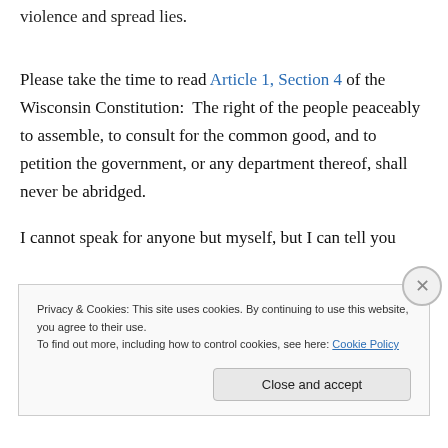violence and spread lies.
Please take the time to read Article 1, Section 4 of the Wisconsin Constitution:  The right of the people peaceably to assemble, to consult for the common good, and to petition the government, or any department thereof, shall never be abridged.
I cannot speak for anyone but myself, but I can tell you
Privacy & Cookies: This site uses cookies. By continuing to use this website, you agree to their use.
To find out more, including how to control cookies, see here: Cookie Policy
Close and accept